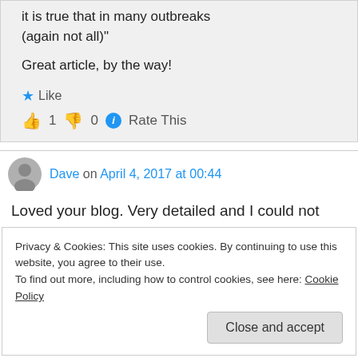it is true that in many outbreaks (again not all)"
Great article, by the way!
👍 1 👎 0 ℹ Rate This
Dave on April 4, 2017 at 00:44
Loved your blog. Very detailed and I could not
Privacy & Cookies: This site uses cookies. By continuing to use this website, you agree to their use. To find out more, including how to control cookies, see here: Cookie Policy
Close and accept
important by making shit up